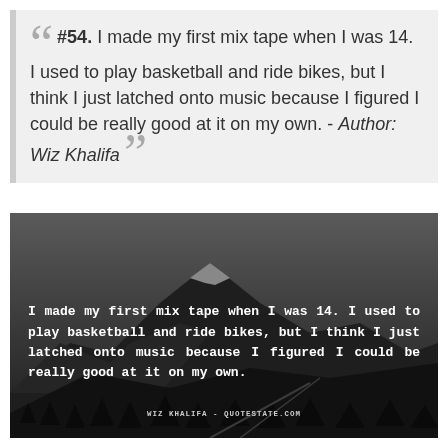#54. I made my first mix tape when I was 14. I used to play basketball and ride bikes, but I think I just latched onto music because I figured I could be really good at it on my own. - Author: Wiz Khalifa
[Figure (photo): Dark grayscale mountain landscape with forest silhouette at bottom, overlaid with white monospace quote text and attribution 'Wiz Khalifa - QuoteState.com']